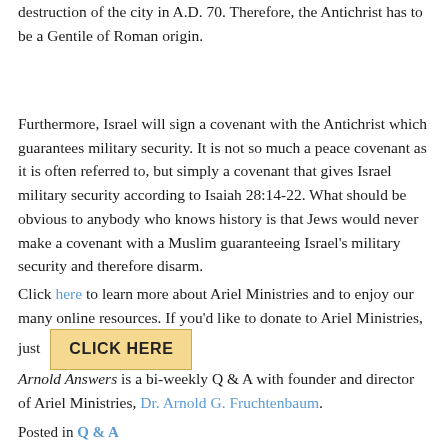destruction of the city in A.D. 70. Therefore, the Antichrist has to be a Gentile of Roman origin.
Furthermore, Israel will sign a covenant with the Antichrist which guarantees military security. It is not so much a peace covenant as it is often referred to, but simply a covenant that gives Israel military security according to Isaiah 28:14-22. What should be obvious to anybody who knows history is that Jews would never make a covenant with a Muslim guaranteeing Israel's military security and therefore disarm.
Click here to learn more about Ariel Ministries and to enjoy our many online resources. If you'd like to donate to Ariel Ministries, just [CLICK HERE button]
Arnold Answers is a bi-weekly Q & A with founder and director of Ariel Ministries, Dr. Arnold G. Fruchtenbaum.
Posted in Q & A